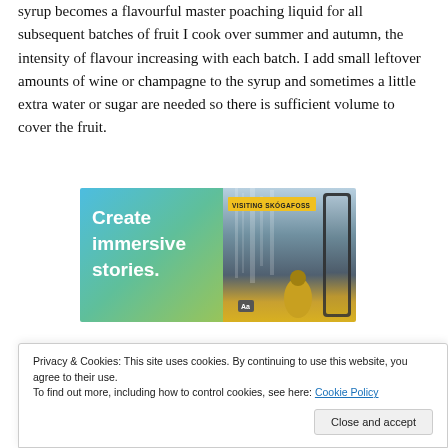syrup becomes a flavourful master poaching liquid for all subsequent batches of fruit I cook over summer and autumn, the intensity of flavour increasing with each batch. I add small leftover amounts of wine or champagne to the syrup and sometimes a little extra water or sugar are needed so there is sufficient volume to cover the fruit.
[Figure (illustration): Advertisement banner with teal/green gradient on left side showing text 'Create immersive stories.' and on the right a photo of Skogafoss waterfall with a person in yellow jacket, with 'VISITING SKOGAFOSS' badge at top.]
Privacy & Cookies: This site uses cookies. By continuing to use this website, you agree to their use.
To find out more, including how to control cookies, see here: Cookie Policy